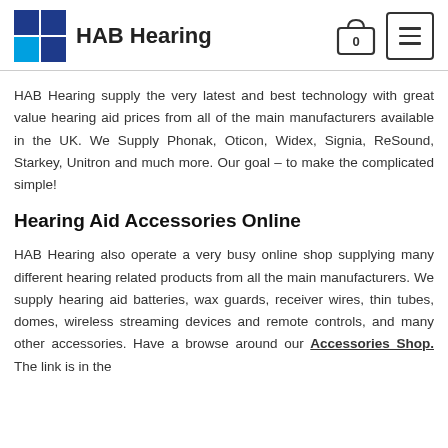HAB Hearing
HAB Hearing supply the very latest and best technology with great value hearing aid prices from all of the main manufacturers available in the UK. We Supply Phonak, Oticon, Widex, Signia, ReSound, Starkey, Unitron and much more. Our goal – to make the complicated simple!
Hearing Aid Accessories Online
HAB Hearing also operate a very busy online shop supplying many different hearing related products from all the main manufacturers. We supply hearing aid batteries, wax guards, receiver wires, thin tubes, domes, wireless streaming devices and remote controls, and many other accessories. Have a browse around our Accessories Shop. The link is in the